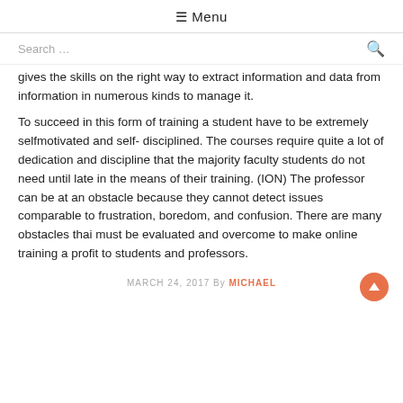☰ Menu
gives the skills on the right way to extract information and data from information in numerous kinds to manage it.
To succeed in this form of training a student have to be extremely selfmotivated and self- disciplined. The courses require quite a lot of dedication and discipline that the majority faculty students do not need until late in the means of their training. (ION) The professor can be at an obstacle because they cannot detect issues comparable to frustration, boredom, and confusion. There are many obstacles thai must be evaluated and overcome to make online training a profit to students and professors.
MARCH 24, 2017 By MICHAEL